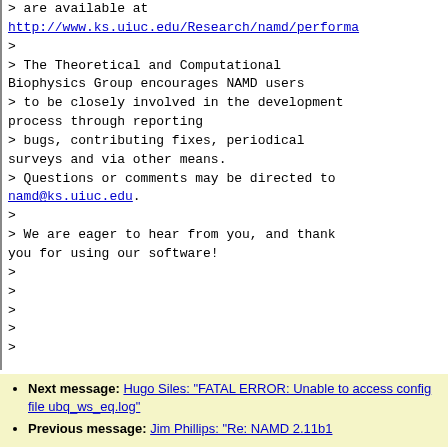> are available at
http://www.ks.uiuc.edu/Research/namd/performa
>
> The Theoretical and Computational Biophysics Group encourages NAMD users
> to be closely involved in the development process through reporting
> bugs, contributing fixes, periodical surveys and via other means.
> Questions or comments may be directed to namd@ks.uiuc.edu.
>
> We are eager to hear from you, and thank you for using our software!
>
>
>
>
>
Next message: Hugo Siles: "FATAL ERROR: Unable to access config file ubq_ws_eq.log"
Previous message: Jim Phillips: "Re: NAMD 2.11b1